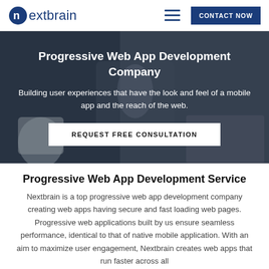nextbrain | CONTACT NOW
Progressive Web App Development Company
Building user experiences that have the look and feel of a mobile app and the reach of the web.
REQUEST FREE CONSULTATION
Progressive Web App Development Service
Nextbrain is a top progressive web app development company creating web apps having secure and fast loading web pages. Progressive web applications built by us ensure seamless performance, identical to that of native mobile application. With an aim to maximize user engagement, Nextbrain creates web apps that run faster across all